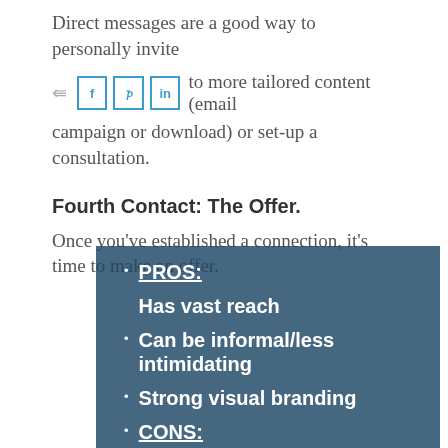Direct messages are a good way to personally invite a potential client to more tailored content (email campaign or download) or set-up a consultation.
Fourth Contact: The Offer.
Once you've established a connection, it's time to make an offer.
PROS:
Has vast reach
Can be informal/less intimidating
Strong visual branding
CONS: